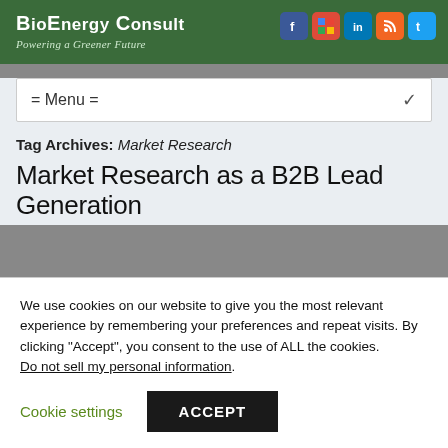BioEnergy Consult – Powering a Greener Future
= Menu =
Tag Archives: Market Research
Market Research as a B2B Lead Generation
We use cookies on our website to give you the most relevant experience by remembering your preferences and repeat visits. By clicking "Accept", you consent to the use of ALL the cookies. Do not sell my personal information.